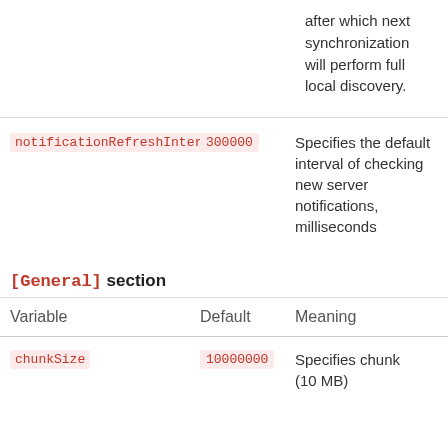| Variable | Default | Meaning |
| --- | --- | --- |
|  |  | after which next synchronization will perform full local discovery. |
| notificationRefreshInterval | 300000 | Specifies the default interval of checking new server notifications, milliseconds |
| [General] section |  |  |
| Variable | Default | Meaning |
| chunkSize | 10000000 | Specifies chunk (10 MB) |